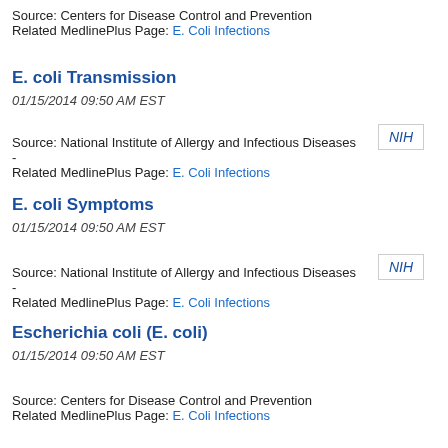Source: Centers for Disease Control and Prevention
Related MedlinePlus Page: E. Coli Infections
E. coli Transmission
01/15/2014 09:50 AM EST
Source: National Institute of Allergy and Infectious Diseases -
Related MedlinePlus Page: E. Coli Infections
E. coli Symptoms
01/15/2014 09:50 AM EST
Source: National Institute of Allergy and Infectious Diseases -
Related MedlinePlus Page: E. Coli Infections
Escherichia coli (E. coli)
01/15/2014 09:50 AM EST
Source: Centers for Disease Control and Prevention
Related MedlinePlus Page: E. Coli Infections